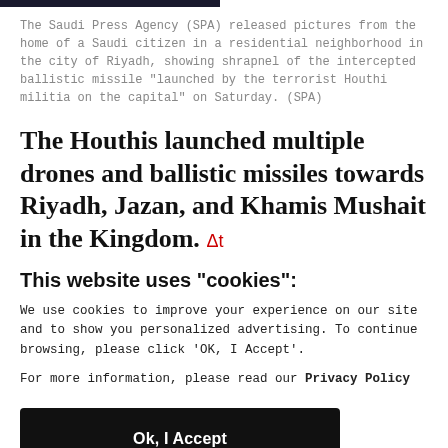The Saudi Press Agency (SPA) released pictures from the home of a Saudi citizen in a residential neighborhood in the city of Riyadh, showing shrapnel of the intercepted ballistic missile “launched by the terrorist Houthi militia on the capital” on Saturday. (SPA)
The Houthis launched multiple drones and ballistic missiles towards Riyadh, Jazan, and Khamis Mushait in the Kingdom.
This website uses "cookies":
We use cookies to improve your experience on our site and to show you personalized advertising. To continue browsing, please click ‘OK, I Accept’.
For more information, please read our Privacy Policy
Ok, I Accept